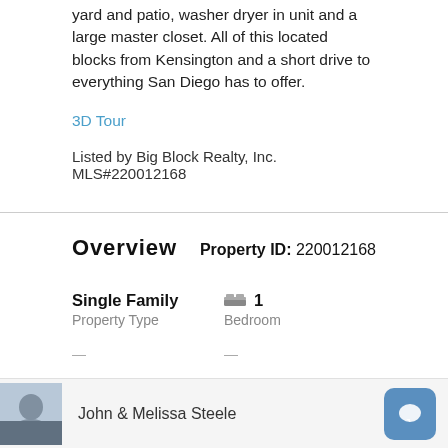yard and patio, washer dryer in unit and a large master closet. All of this located blocks from Kensington and a short drive to everything San Diego has to offer.
3D Tour
Listed by Big Block Realty, Inc. MLS#220012168
Overview
Property ID: 220012168
Single Family
Property Type
1
Bedroom
John & Melissa Steele